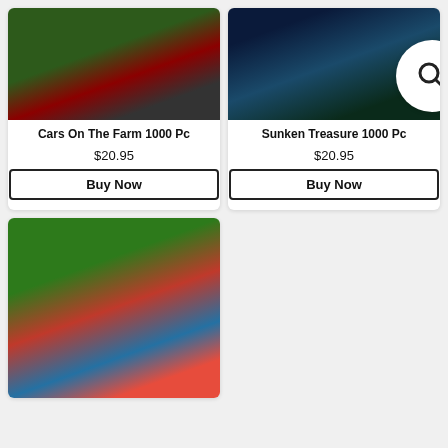[Figure (photo): Puzzle box for Cars On The Farm 1000 Pc puzzle showing classic cars in a farm setting]
Cars On The Farm 1000 Pc
$20.95
Buy Now
[Figure (photo): Puzzle box for Sunken Treasure 1000 Pc puzzle showing underwater ocean scene with octopus and colorful fish. Search magnifier icon overlay in top right.]
Sunken Treasure 1000 Pc
$20.95
Buy Now
[Figure (photo): Puzzle image showing colorful birds including cardinals and chickadees around a red birdhouse decorated with American flag motifs, surrounded by red and blue flowers]